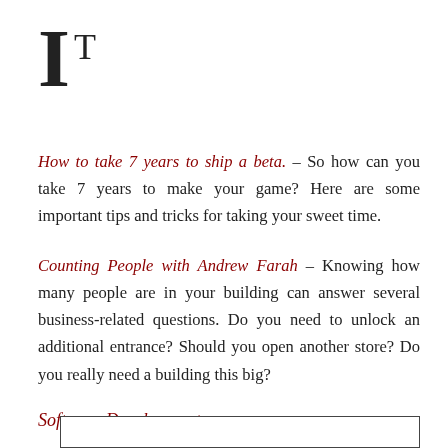I T
How to take 7 years to ship a beta. – So how can you take 7 years to make your game? Here are some important tips and tricks for taking your sweet time.
Counting People with Andrew Farah – Knowing how many people are in your building can answer several business-related questions. Do you need to unlock an additional entrance? Should you open another store? Do you really need a building this big?
Software Development
[Figure (other): Partial box outline at bottom of page]